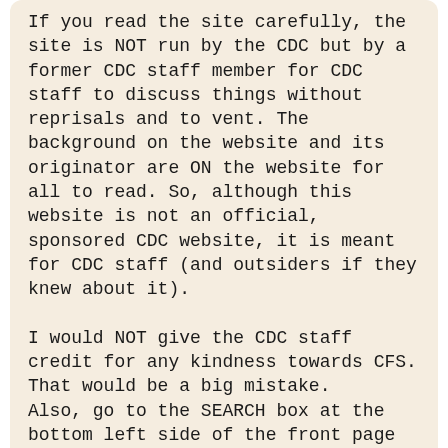If you read the site carefully, the site is NOT run by the CDC but by a former CDC staff member for CDC staff to discuss things without reprisals and to vent. The background on the website and its originator are ON the website for all to read. So, although this website is not an official, sponsored CDC website, it is meant for CDC staff (and outsiders if they knew about it).

I would NOT give the CDC staff credit for any kindness towards CFS. That would be a big mistake.
Also, go to the SEARCH box at the bottom left side of the front page and put in CFS and you will see all the old comments that were removed. Nothing earth shattering in any of them. And the nasty cheap shots at us are hurtful and come from stupid-sounding people.
Sorry, but the bottom-line is that the CDC is still not our friend but our very worst enemy...
There's no reason to believe that everyone who works for the CDC is against CFS or loyal to Reeves just because they work there. Certainly everyone has their own opinion. Lumping everyone into one group by saying "these people made nasty